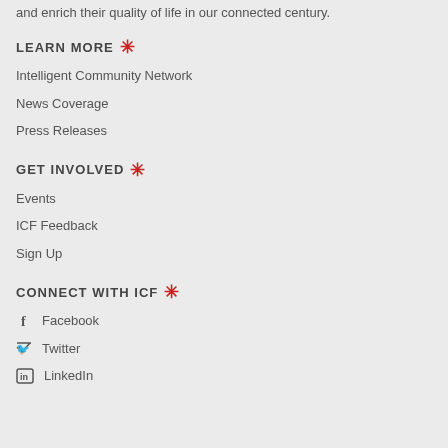and enrich their quality of life in our connected century.
LEARN MORE
Intelligent Community Network
News Coverage
Press Releases
GET INVOLVED
Events
ICF Feedback
Sign Up
CONNECT WITH ICF
Facebook
Twitter
LinkedIn